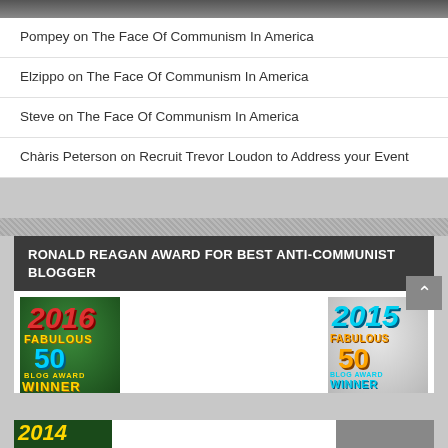Pompey on The Face Of Communism In America
Elzippo on The Face Of Communism In America
Steve on The Face Of Communism In America
Chàris Peterson on Recruit Trevor Loudon to Address your Event
RONALD REAGAN AWARD FOR BEST ANTI-COMMUNIST BLOGGER
[Figure (illustration): 2016 Fabulous 50 Blog Award Winner badge with green background]
[Figure (illustration): 2015 Fabulous 50 Blog Award Winner badge with gray/silver background]
[Figure (illustration): 2014 partial badge visible at bottom left]
[Figure (illustration): Partial badge visible at bottom right]